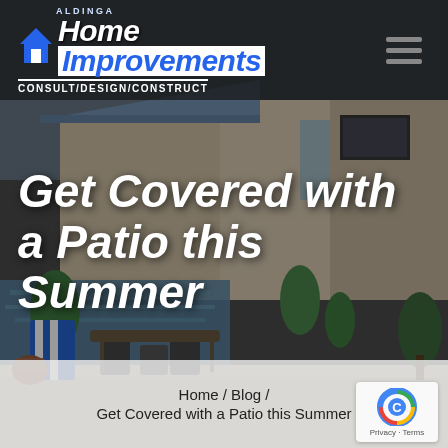[Figure (photo): Background photo of a covered patio/outdoor living area with pool, outdoor furniture with striped towels, tropical plants, and a modern home in the background. Dark overlay applied.]
Aldinga Home Improvements CONSULT/DESIGN/CONSTRUCT (logo with house icon and hamburger menu)
Get Covered with a Patio this Summer
Home / Blog / Get Covered with a Patio this Summer